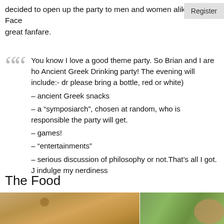decided to open up the party to men and women alike. The Facebook Register great fanfare.
You know I love a good theme party. So Brian and I are ho Ancient Greek Drinking party! The evening will include:- dr please bring a bottle, red or white)
– ancient Greek snacks
– a “symposiarch”, chosen at random, who is responsible the party will get.
– games!
– “entertainments”
– serious discussion of philosophy or not.That’s all I got. J indulge my nerdiness
The Food
[Figure (photo): Photo of food: a flatbread or pastry on the left side and a white bowl with green liquid (soup or sauce) on the right side with a lemon slice visible.]